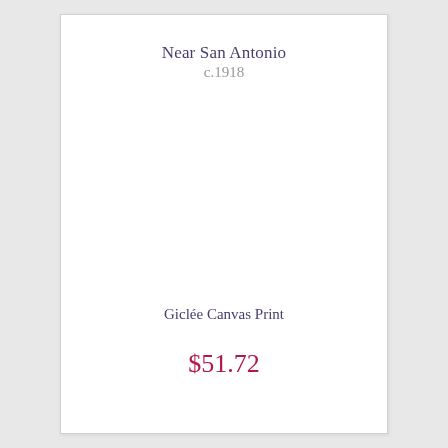Near San Antonio
c.1918
[Figure (other): Blank white image area for artwork (not loaded)]
Giclée Canvas Print
$51.72